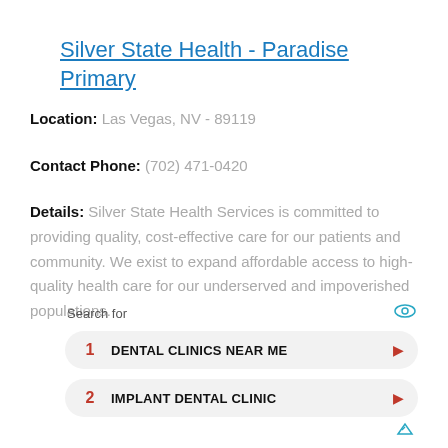Silver State Health - Paradise Primary
Location: Las Vegas, NV - 89119
Contact Phone: (702) 471-0420
Details: Silver State Health Services is committed to providing quality, cost-effective care for our patients and community. We exist to expand affordable access to high-quality health care for our underserved and impoverished populations.
Search for
1 DENTAL CLINICS NEAR ME
2 IMPLANT DENTAL CLINIC